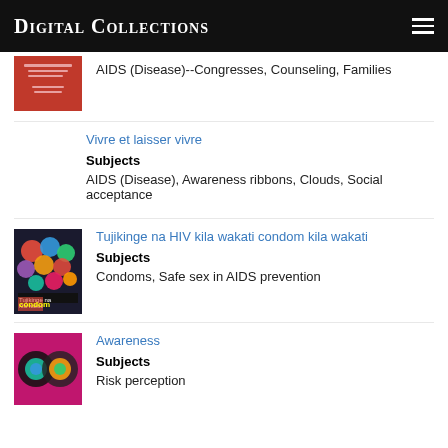Digital Collections
AIDS (Disease)--Congresses, Counseling, Families
Vivre et laisser vivre
Subjects
AIDS (Disease), Awareness ribbons, Clouds, Social acceptance
[Figure (photo): Book cover with colorful condoms image for Tujikinge na HIV kila wakati condom kila wakati]
Tujikinge na HIV kila wakati condom kila wakati
Subjects
Condoms, Safe sex in AIDS prevention
[Figure (photo): Colorful poster with abstract circular shapes on purple background for Awareness]
Awareness
Subjects
Risk perception